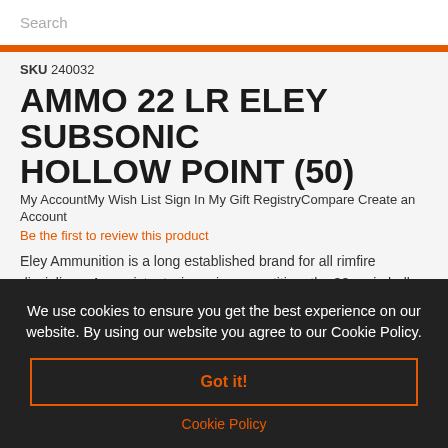Search
SKU 240032
AMMO 22 LR ELEY SUBSONIC HOLLOW POINT (50)
My AccountMy Wish List Sign In My Gift RegistryCompare Create an Account
Be the first to review this product
Eley Ammunition is a long established brand for all rimfire disciplines. A consistent winner in competition, the 38 grain hollow point bullet makes this a great choice for hunting as well. The subsonic velocity is effective whether shooting suppressed or not. This quality ammunition will meet all your shooting needs.
We use cookies to ensure you get the best experience on our website. By using our website you agree to our Cookie Policy.
Got it!
Cookie Policy